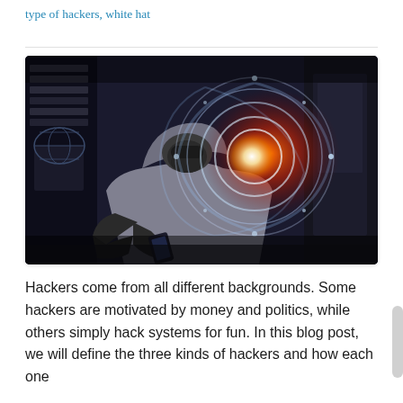type of hackers, white hat
[Figure (photo): A hooded hacker figure in a dark environment interacting with a glowing swirling holographic interface with red and white light effects]
Hackers come from all different backgrounds. Some hackers are motivated by money and politics, while others simply hack systems for fun. In this blog post, we will define the three kinds of hackers and how each one differs from the others ...